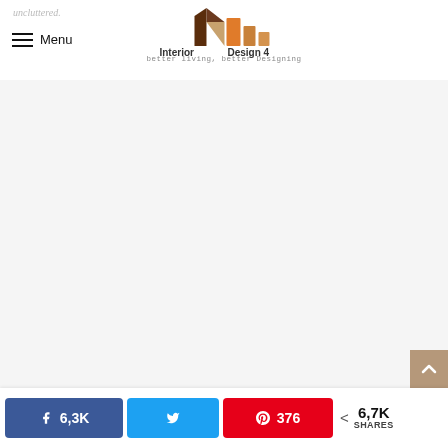uncluttered. | Menu | Interior Design 4 — better living, better Designing
[Figure (logo): Interior Design 4 logo with geometric triangles and bars in brown, tan and orange tones, tagline: better living, better Designing]
[Figure (other): White/light grey blank content area]
Facebook 6,3K | Twitter | Pinterest 376 | < 6,7K SHARES